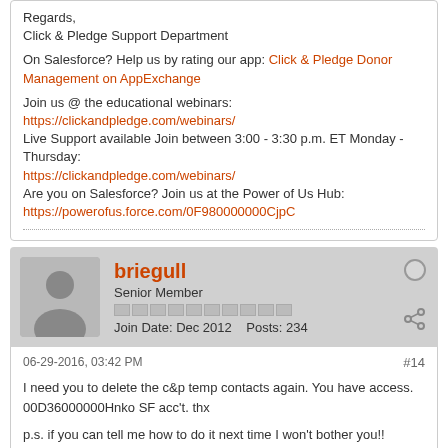Regards,
Click & Pledge Support Department

On Salesforce? Help us by rating our app: Click & Pledge Donor Management on AppExchange

Join us @ the educational webinars: https://clickandpledge.com/webinars/
Live Support available Join between 3:00 - 3:30 p.m. ET Monday - Thursday: https://clickandpledge.com/webinars/
Are you on Salesforce? Join us at the Power of Us Hub:
https://powerofus.force.com/0F980000000CjpC
briegull
Senior Member
Join Date: Dec 2012   Posts: 234
06-29-2016, 03:42 PM
#14
I need you to delete the c&p temp contacts again. You have access. 00D36000000Hnko SF acc't. thx

p.s. if you can tell me how to do it next time I won't bother you!!
Last edited by briegull; 06-29-2016, 03:45 PM.